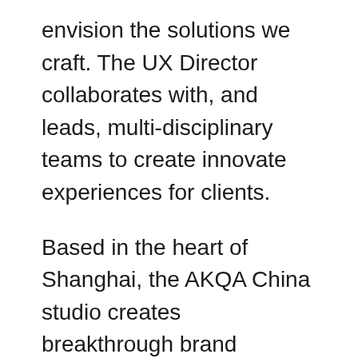envision the solutions we craft. The UX Director collaborates with, and leads, multi-disciplinary teams to create innovate experiences for clients.
Based in the heart of Shanghai, the AKQA China studio creates breakthrough brand  experiences, customer experience strategy and award winning communications for some of the world most well-known brands.
Recognized for outstanding work by Cannes, Apple and the Clio Awards, we deliver on our client's most challenging briefs. This includes the future of retail, global entertainment launches and piloting digital products and services that reshape customer experiences.